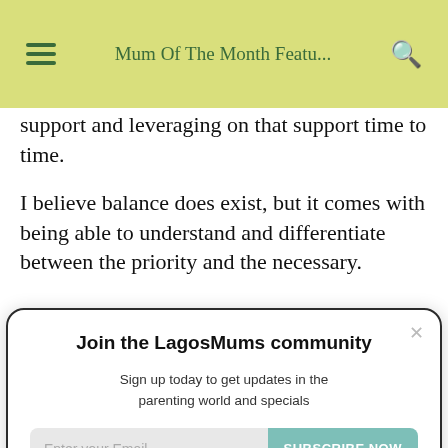Mum Of The Month Featu...
support and leveraging on that support time to time.
I believe balance does exist, but it comes with being able to understand and differentiate between the priority and the necessary.
Join the LagosMums community
Sign up today to get updates in the parenting world and specials
Enter your Email | SUBSCRIBE NOW
More please